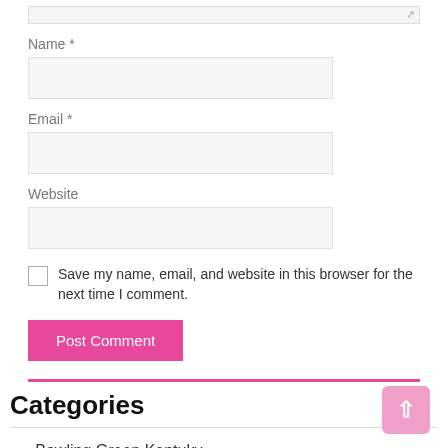Name *
Email *
Website
Save my name, email, and website in this browser for the next time I comment.
Post Comment
Categories
Bowling Green Kentuky
Kentucky
Kentucky Economy